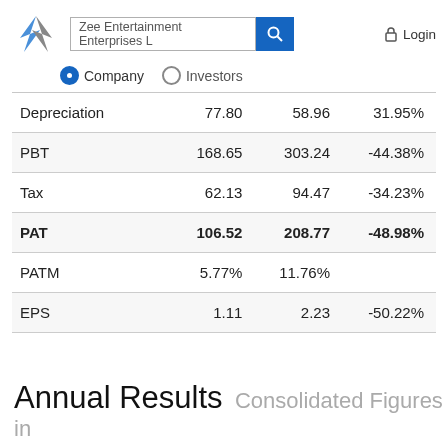[Figure (logo): Star/arrow shaped logo in blue and grey]
Zee Entertainment Enterprises Ltd
Login
Company  Investors
| Depreciation | 77.80 | 58.96 | 31.95% |
| PBT | 168.65 | 303.24 | -44.38% |
| Tax | 62.13 | 94.47 | -34.23% |
| PAT | 106.52 | 208.77 | -48.98% |
| PATM | 5.77% | 11.76% |  |
| EPS | 1.11 | 2.23 | -50.22% |
Annual Results Consolidated Figures in